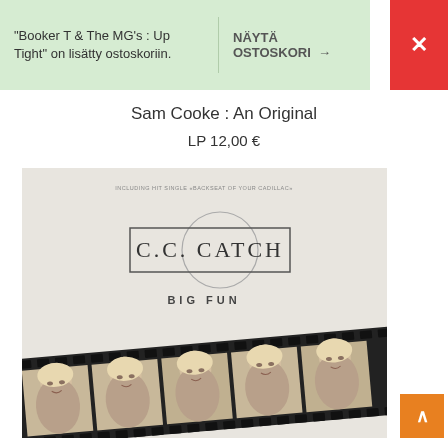"Booker T & The MG's : Up Tight" on lisätty ostoskoriin.
NÄYTÄ OSTOSKORI →
×
Sam Cooke : An Original
LP 12,00 €
[Figure (photo): C.C. Catch 'Big Fun' LP album cover showing the artist's logo at top center and a diagonal film strip with repeated photos of a blonde woman at the bottom]
∧